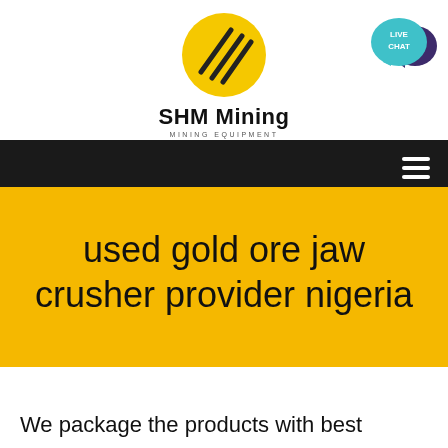[Figure (logo): SHM Mining logo: yellow circle with diagonal parallel lines, brand name 'SHM Mining' and subtitle 'MINING EQUIPMENT']
[Figure (illustration): Live Chat speech bubble icon in teal/cyan with text 'LIVE CHAT' and a dark purple speech bubble behind]
[Figure (other): Black navigation bar with white hamburger menu icon (three horizontal lines) on the right]
used gold ore jaw crusher provider nigeria
We package the products with best